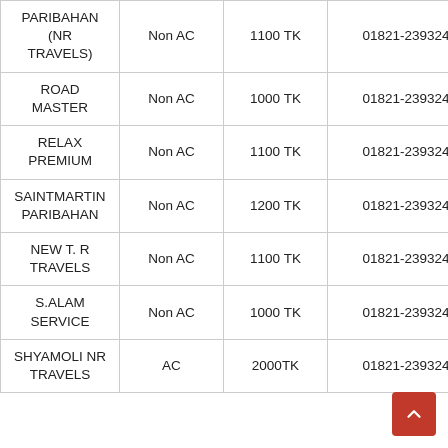| PARIBAHAN (NR TRAVELS) | Non AC | 1100 TK | 01821-239324 |
| ROAD MASTER | Non AC | 1000 TK | 01821-239324 |
| RELAX PREMIUM | Non AC | 1100 TK | 01821-239324 |
| SAINTMARTIN PARIBAHAN | Non AC | 1200 TK | 01821-239324 |
| NEW T. R TRAVELS | Non AC | 1100 TK | 01821-239324 |
| S.ALAM SERVICE | Non AC | 1000 TK | 01821-239324 |
| SHYAMOLI NR TRAVELS | AC | 2000TK | 01821-239324 |